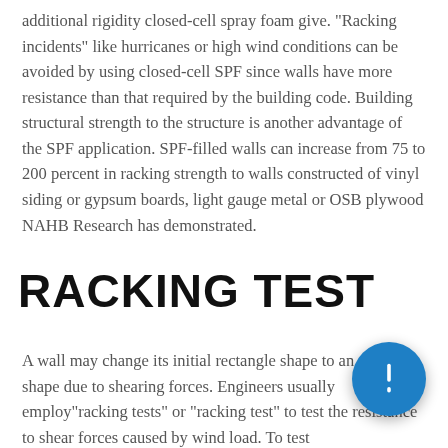additional rigidity closed-cell spray foam give. "Racking incidents" like hurricanes or high wind conditions can be avoided by using closed-cell SPF since walls have more resistance than that required by the building code. Building structural strength to the structure is another advantage of the SPF application. SPF-filled walls can increase from 75 to 200 percent in racking strength to walls constructed of vinyl siding or gypsum boards, light gauge metal or OSB plywood NAHB Research has demonstrated.
RACKING TEST
A wall may change its initial rectangle shape to an oblng shape due to shearing forces. Engineers usually employ"racking tests" or "racking test" to test the resistance to shear forces caused by wind load. To test